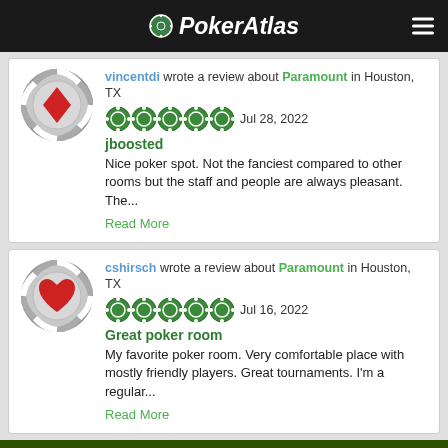PokerAtlas
vincentdi wrote a review about Paramount in Houston, TX Jul 28, 2022 jboosted Nice poker spot. Not the fanciest compared to other rooms but the staff and people are always pleasant. The... Read More
cshirsch wrote a review about Paramount in Houston, TX Jul 16, 2022 Great poker room My favorite poker room. Very comfortable place with mostly friendly players. Great tournaments. I'm a regular... Read More
PokerAtlas uses cookies. By continuing to use this website, you agree to their use and to our Terms of Service and Privacy Policy. Close & Accept
[Figure (infographic): WPT advertisement banner: Seminole Hard Rock Tampa logo on left, WPT logo in center, Hard Rock Hotel & Casino Tampa logo on right, text AUGUST 25 - SEPTEMBER 7]